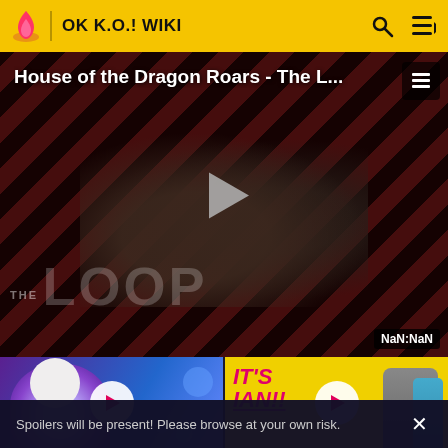OK K.O.! WIKI
House of the Dragon Roars - The L...
NaN:NaN
[Figure (screenshot): Video thumbnail of animated cartoon character with play button]
[Figure (screenshot): IT'S IAN!! video thumbnail with yellow background and play button]
Spoilers will be present! Please browse at your own risk.